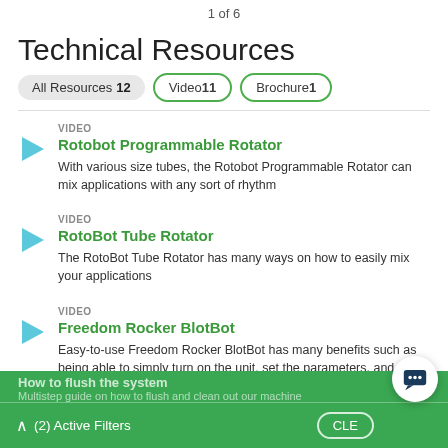1 of 6
Technical Resources
All Resources 12
Video 11
Brochure 1
VIDEO
Rotobot Programmable Rotator
With various size tubes, the Rotobot Programmable Rotator can mix applications with any sort of rhythm
VIDEO
RotoBot Tube Rotator
The RotoBot Tube Rotator has many ways on how to easily mix your applications
VIDEO
Freedom Rocker BlotBot
Easy-to-use Freedom Rocker BlotBot has many benefits such as being able to simply turn on the unit, set the parameters, and walk away
(2) Active Filters   CLEAR